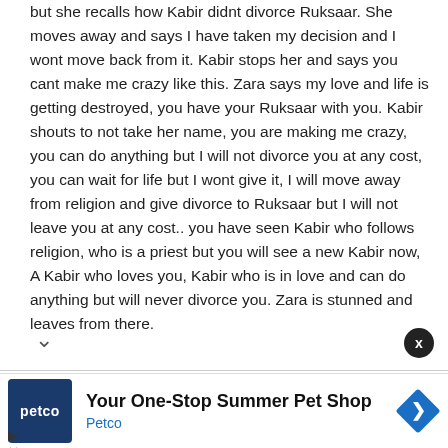but she recalls how Kabir didnt divorce Ruksaar. She moves away and says I have taken my decision and I wont move back from it. Kabir stops her and says you cant make me crazy like this. Zara says my love and life is getting destroyed, you have your Ruksaar with you. Kabir shouts to not take her name, you are making me crazy, you can do anything but I will not divorce you at any cost, you can wait for life but I wont give it, I will move away from religion and give divorce to Ruksaar but I will not leave you at any cost.. you have seen Kabir who follows religion, who is a priest but you will see a new Kabir now, A Kabir who loves you, Kabir who is in love and can do anything but will never divorce you. Zara is stunned and leaves from there.
Zara is in kitchen, she is trying to cook but she keeps alling how she asked for divorce and her argument with
[Figure (infographic): Petco advertisement banner: blue Petco logo on left, text 'Your One-Stop Summer Pet Shop' with 'Petco' in blue below, and a blue diamond-shaped navigation icon on the right.]